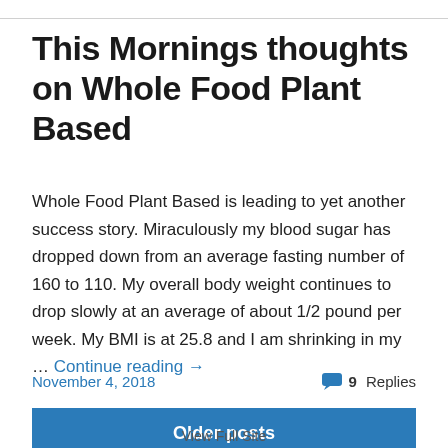This Mornings thoughts on Whole Food Plant Based
Whole Food Plant Based is leading to yet another success story. Miraculously my blood sugar has dropped down from an average fasting number of 160 to 110. My overall body weight continues to drop slowly at an average of about 1/2 pound per week. My BMI is at 25.8 and I am shrinking in my … Continue reading →
November 4, 2018
9 Replies
Older posts
View Full Site